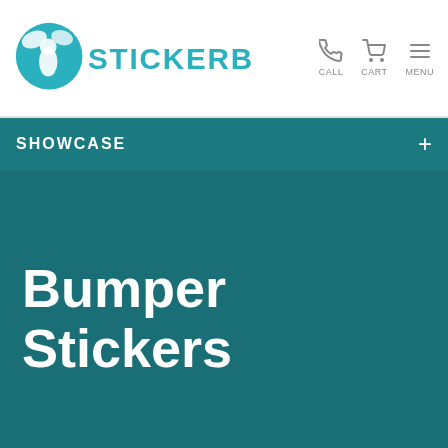StickerBuzz – CALL, CART, MENU
SHOWCASE +
Bumper Stickers